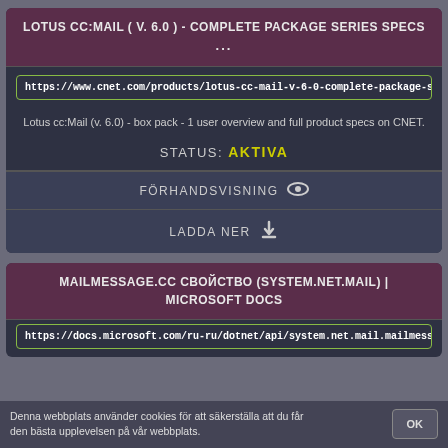LOTUS CC:MAIL ( V. 6.0 ) - COMPLETE PACKAGE SERIES SPECS ...
https://www.cnet.com/products/lotus-cc-mail-v-6-0-complete-package-se
Lotus cc:Mail (v. 6.0) - box pack - 1 user overview and full product specs on CNET.
STATUS: AKTIVA
FÖRHANDSVISNING
LADDA NER
MAILMESSAGE.CC СВОЙСТВО (SYSTEM.NET.MAIL) | MICROSOFT DOCS
https://docs.microsoft.com/ru-ru/dotnet/api/system.net.mail.mailmessag
Denna webbplats använder cookies för att säkerställa att du får den bästa upplevelsen på vår webbplats.
OK